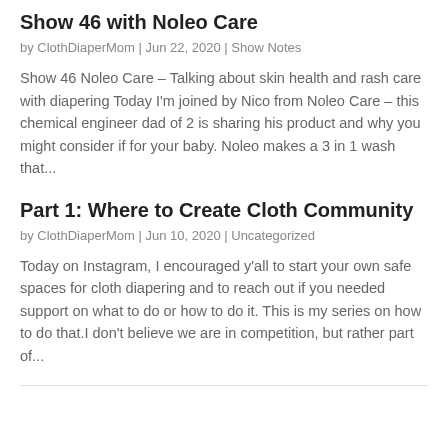Show 46 with Noleo Care
by ClothDiaperMom | Jun 22, 2020 | Show Notes
Show 46 Noleo Care – Talking about skin health and rash care with diapering Today I'm joined by Nico from Noleo Care – this chemical engineer dad of 2 is sharing his product and why you might consider if for your baby. Noleo makes a 3 in 1 wash that...
Part 1: Where to Create Cloth Community
by ClothDiaperMom | Jun 10, 2020 | Uncategorized
Today on Instagram, I encouraged y'all to start your own safe spaces for cloth diapering and to reach out if you needed support on what to do or how to do it. This is my series on how to do that.I don't believe we are in competition, but rather part of...